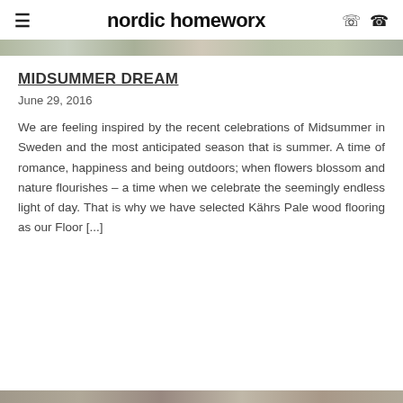nordic homeworx
[Figure (photo): A thin decorative photo strip showing outdoor/nature scenery, partially visible at top of content]
MIDSUMMER DREAM
June 29, 2016
We are feeling inspired by the recent celebrations of Midsummer in Sweden and the most anticipated season that is summer. A time of romance, happiness and being outdoors; when flowers blossom and nature flourishes – a time when we celebrate the seemingly endless light of day. That is why we have selected Kährs Pale wood flooring as our Floor [...]
[Figure (photo): A thin decorative photo strip showing wood flooring texture at the bottom of the page]